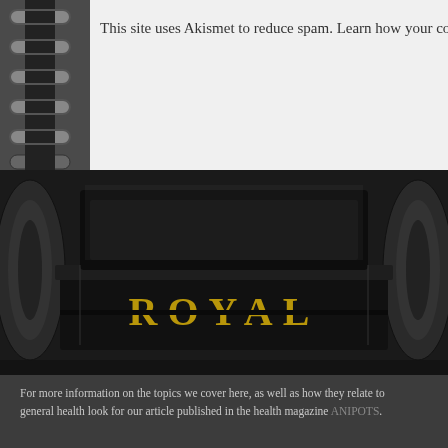This site uses Akismet to reduce spam. Learn how your co
[Figure (photo): Close-up photograph of a vintage Royal typewriter, dark/black, showing the brand name ROYAL in gold lettering on the machine body, with mechanical parts visible on sides, dark moody lighting]
For more information on the topics we cover here, as well as how they relate to general health look for our article published in the health magazine ANIPOTS.
Subscribe to
Enter your em receive notific
Join 701 other
Email Address
Subscrib
WordPress the